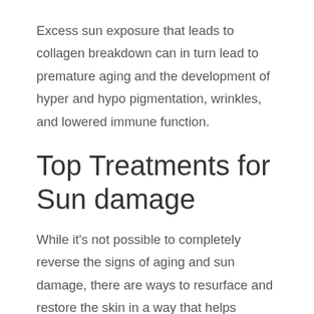Excess sun exposure that leads to collagen breakdown can in turn lead to premature aging and the development of hyper and hypo pigmentation, wrinkles, and lowered immune function.
Top Treatments for Sun damage
While it's not possible to completely reverse the signs of aging and sun damage, there are ways to resurface and restore the skin in a way that helps promote new skin growth and